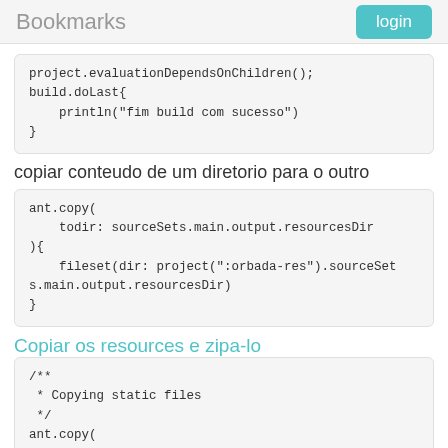Bookmarks  login
project.evaluationDependsOnChildren();
build.doLast{
    println("fim build com sucesso")
}
copiar conteudo de um diretorio para o outro
ant.copy(
    todir: sourceSets.main.output.resourcesDir
){
    fileset(dir: project(":orbada-res").sourceSet
s.main.output.resourcesDir)
}
Copiar os resources e zipa-lo
/**
 * Copying static files
 */
ant.copy(